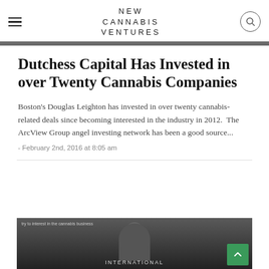NEW CANNABIS VENTURES
Dutchess Capital Has Invested in over Twenty Cannabis Companies
Boston's Douglas Leighton has invested in over twenty cannabis-related deals since becoming interested in the industry in 2012.  The ArcView Group angel investing network has been a good source...
- February 2nd, 2016 at 8:05 am
[Figure (photo): Photo of a person, partially visible at bottom of page, with 'INTERNATIONAL' text overlay visible at bottom right]